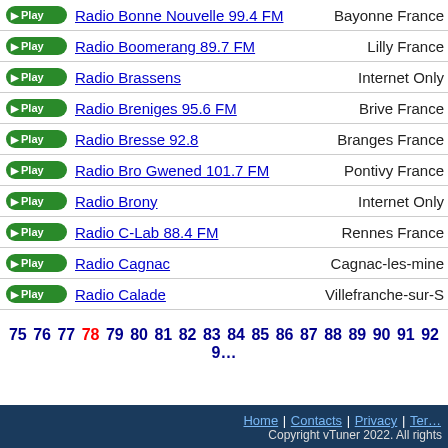Radio Bonne Nouvelle 99.4 FM — Bayonne France
Radio Boomerang 89.7 FM — Lilly France
Radio Brassens — Internet Only
Radio Breniges 95.6 FM — Brive France
Radio Bresse 92.8 — Branges France
Radio Bro Gwened 101.7 FM — Pontivy France
Radio Brony — Internet Only
Radio C-Lab 88.4 FM — Rennes France
Radio Cagnac — Cagnac-les-mine
Radio Calade — Villefranche-sur-S
75 76 77 78 79 80 81 82 83 84 85 86 87 88 89 90 91 92 9...
Home | Contacts | Privacy | Ter... Copyright vTuner 2022. All rights